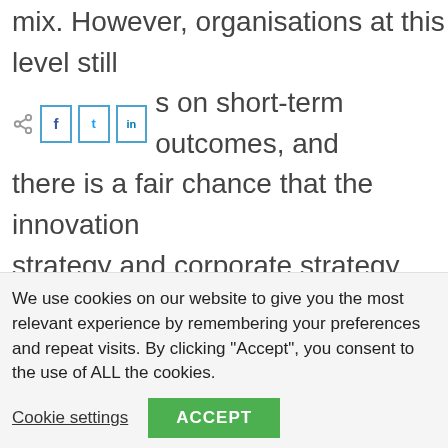mix. However, organisations at this level still s on short-term outcomes, and there is a fair chance that the innovation strategy and corporate strategy remain misaligned. That's certainly not the case for the third level.
Expert
Attaining this new level of maturity sees a
We use cookies on our website to give you the most relevant experience by remembering your preferences and repeat visits. By clicking "Accept", you consent to the use of ALL the cookies.